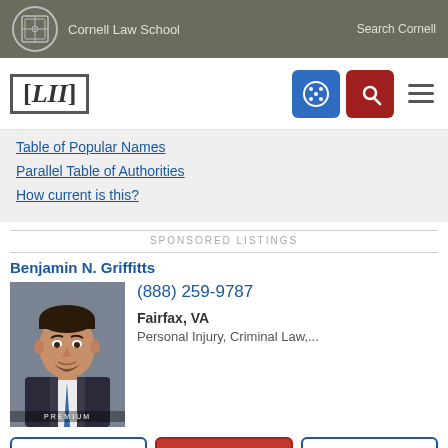Cornell Law School | Search Cornell
[Figure (logo): LII Legal Information Institute logo with navigation icons]
Table of Popular Names
Parallel Table of Authorities
How current is this?
SPONSORED LISTINGS
Benjamin N. Griffitts
[Figure (photo): Professional headshot of Benjamin N. Griffitts, attorney, with PREMIUM badge]
(888) 259-9787
Fairfax, VA
Personal Injury, Criminal Law,...
Website
Call
Email